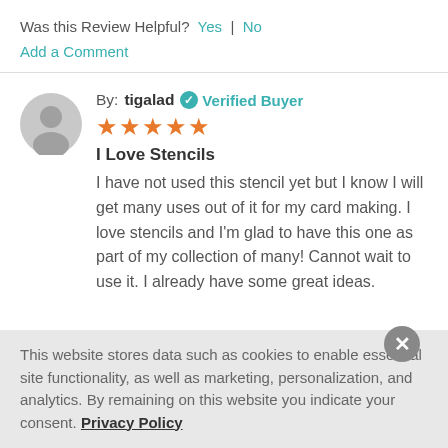Was this Review Helpful? Yes | No
Add a Comment
By: tigalad  Verified Buyer
★★★★★
I Love Stencils
I have not used this stencil yet but I know I will get many uses out of it for my card making. I love stencils and I'm glad to have this one as part of my collection of many! Cannot wait to use it. I already have some great ideas.
This website stores data such as cookies to enable essential site functionality, as well as marketing, personalization, and analytics. By remaining on this website you indicate your consent. Privacy Policy